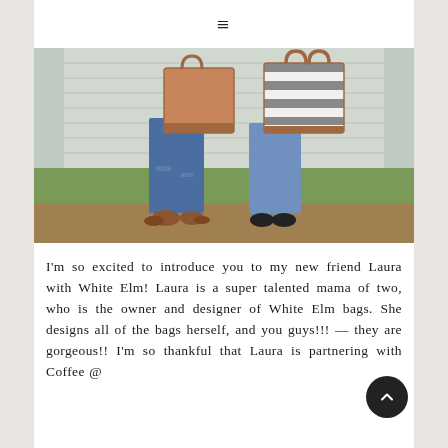≡
[Figure (photo): Two women standing outside near a house, each holding a bag. Left person holds a tan/brown leather tote and wears distressed jeans with cowboy boots. Right person holds a grey and white striped tote with brown handles and wears jeans with black ankle boots.]
I'm so excited to introduce you to my new friend Laura with White Elm! Laura is a super talented mama of two, who is the owner and designer of White Elm bags. She designs all of the bags herself, and you guys!!! — they are gorgeous!! I'm so thankful that Laura is partnering with Coffee @